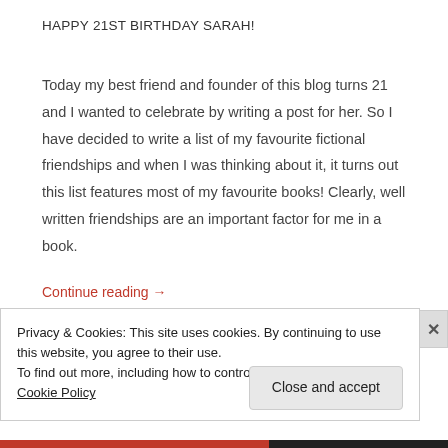HAPPY 21ST BIRTHDAY SARAH!
Today my best friend and founder of this blog turns 21 and I wanted to celebrate by writing a post for her. So I have decided to write a list of my favourite fictional friendships and when I was thinking about it, it turns out this list features most of my favourite books! Clearly, well written friendships are an important factor for me in a book.
Continue reading →
Privacy & Cookies: This site uses cookies. By continuing to use this website, you agree to their use.
To find out more, including how to control cookies, see here: Cookie Policy
Close and accept